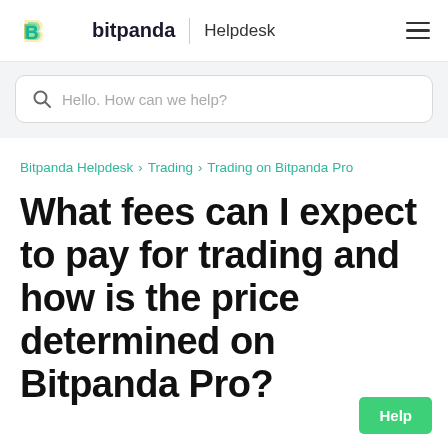bitpanda | Helpdesk
Hello. How can we help?
Bitpanda Helpdesk › Trading › Trading on Bitpanda Pro
What fees can I expect to pay for trading and how is the price determined on Bitpanda Pro?